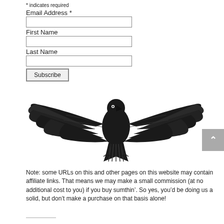* indicates required
Email Address *
First Name
Last Name
Subscribe
[Figure (illustration): Black and white illustration of a large bird (raven or eagle) with wings spread wide, facing forward, on a white background.]
Note: some URLs on this and other pages on this website may contain affiliate links. That means we may make a small commission (at no additional cost to you) if you buy sumthin’. So yes, you’d be doing us a solid, but don’t make a purchase on that basis alone!